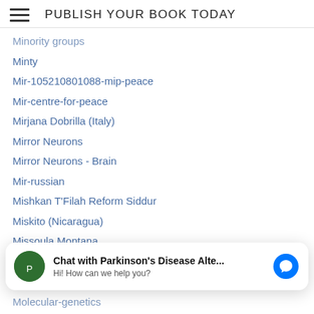PUBLISH YOUR BOOK TODAY
Minority groups
Minty
Mir-105210801088-mip-peace
Mir-centre-for-peace
Mirjana Dobrilla (Italy)
Mirror Neurons
Mirror Neurons - Brain
Mir-russian
Mishkan T'Filah Reform Siddur
Miskito (Nicaragua)
Missoula Montana
Mitchell-river-cape-york-australia
Mixed-connective-tissue-disease-mctd
Mixed-media-art
Chat with Parkinson's Disease Alte... Hi! How can we help you?
Mohammad-azlam
Molecular-genetics